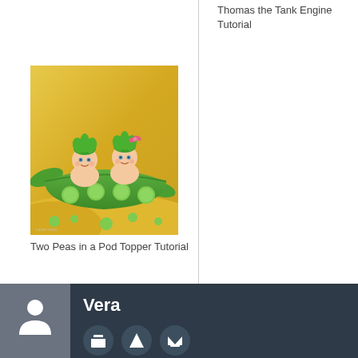Thomas the Tank Engine Tutorial
[Figure (photo): Two Peas in a Pod cake topper figurines — two baby figures with green hair emerging from a pea pod on a yellow cake, with scattered pea balls around them]
Two Peas in a Pod Topper Tutorial
Vera